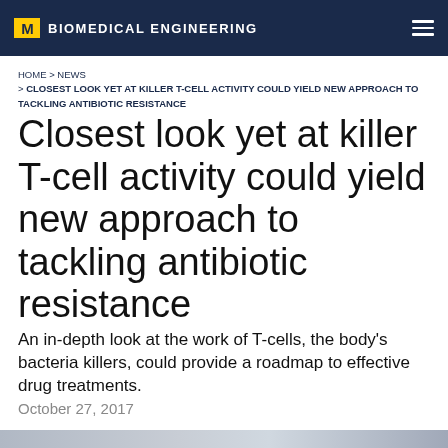M BIOMEDICAL ENGINEERING
HOME > NEWS > CLOSEST LOOK YET AT KILLER T-CELL ACTIVITY COULD YIELD NEW APPROACH TO TACKLING ANTIBIOTIC RESISTANCE
Closest look yet at killer T-cell activity could yield new approach to tackling antibiotic resistance
An in-depth look at the work of T-cells, the body's bacteria killers, could provide a roadmap to effective drug treatments.
October 27, 2017
[Figure (photo): Partial photo of a person, likely a researcher]